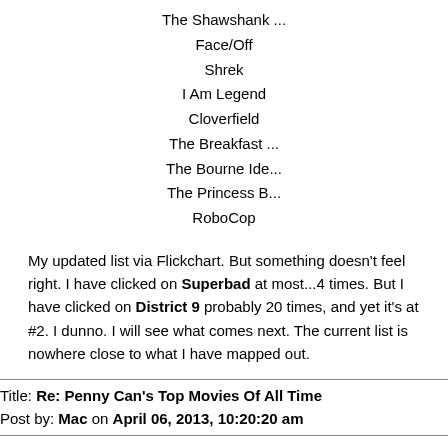The Shawshank ...
Face/Off
Shrek
I Am Legend
Cloverfield
The Breakfast ...
The Bourne Ide...
The Princess B...
RoboCop
My updated list via Flickchart. But something doesn't feel right. I have clicked on Superbad at most...4 times. But I have clicked on District 9 probably 20 times, and yet it's at #2. I dunno. I will see what comes next. The current list is nowhere close to what I have mapped out.
Title: Re: Penny Can's Top Movies Of All Time
Post by: Mac on April 06, 2013, 10:20:20 am
Kinda of along these lines I was thinking about those who collect movies, what Director and/or Star do you have most of?
For instance do you have more movies by Quintin Tarantino than any other? Spielberg, etc.
For example.... Big fan of George Clooney and have more of his movies than any other?